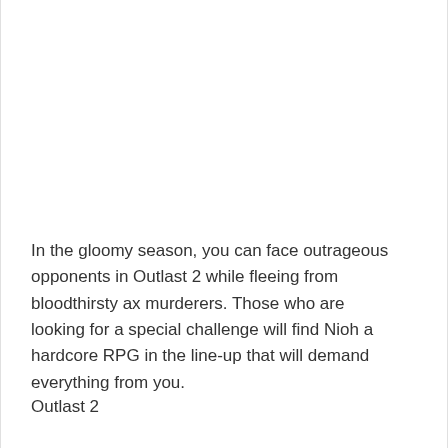In the gloomy season, you can face outrageous opponents in Outlast 2 while fleeing from bloodthirsty ax murderers. Those who are looking for a special challenge will find Nioh a hardcore RPG in the line-up that will demand everything from you.
Outlast 2